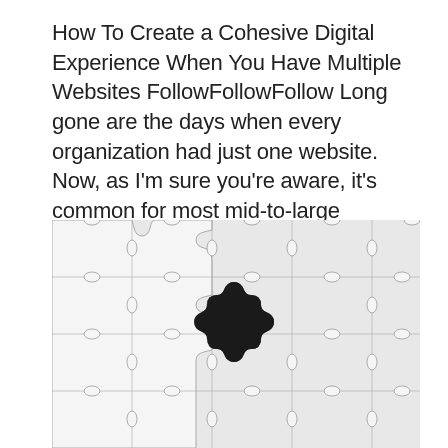How To Create a Cohesive Digital Experience When You Have Multiple Websites FollowFollowFollow Long gone are the days when every organization had just one website. Now, as I'm sure you're aware, it's common for most mid-to-large nonprofits (and even...
[Figure (photo): A white jigsaw puzzle with multiple interlocking pieces, featuring one missing piece that reveals a black background underneath, creating a dark puzzle-piece-shaped hole in the center of the image.]